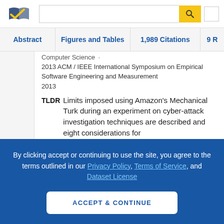[Figure (logo): Semantic Scholar logo - stylized open book with blue and gold check mark]
Abstract | Figures and Tables | 1,989 Citations | 9 R
Computer Science · 2013 ACM / IEEE International Symposium on Empirical Software Engineering and Measurement 2013
TLDR Limits imposed using Amazon's Mechanical Turk during an experiment on cyber-attack investigation techniques are described and eight considerations for
By clicking accept or continuing to use the site, you agree to the terms outlined in our Privacy Policy, Terms of Service, and Dataset License
ACCEPT & CONTINUE